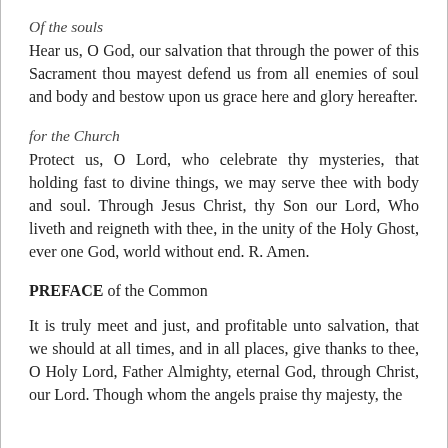Of the souls
Hear us, O God, our salvation that through the power of this Sacrament thou mayest defend us from all enemies of soul and body and bestow upon us grace here and glory hereafter.
for the Church
Protect us, O Lord, who celebrate thy mysteries, that holding fast to divine things, we may serve thee with body and soul. Through Jesus Christ, thy Son our Lord, Who liveth and reigneth with thee, in the unity of the Holy Ghost, ever one God, world without end. R. Amen.
PREFACE of the Common
It is truly meet and just, and profitable unto salvation, that we should at all times, and in all places, give thanks to thee, O Holy Lord, Father Almighty, eternal God, through Christ, our Lord. Though whom the angels praise thy majesty, the